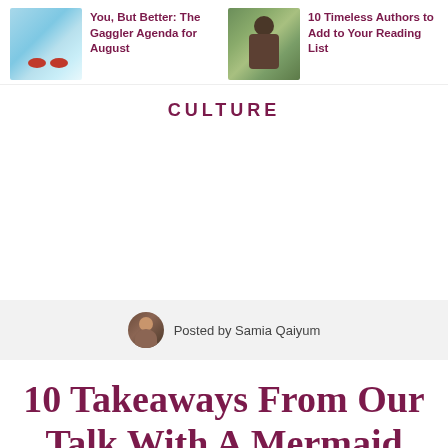[Figure (photo): Thumbnail image of swimming pool with sunglasses]
You, But Better: The Gaggler Agenda for August
[Figure (photo): Thumbnail image of person reading outdoors]
10 Timeless Authors to Add to Your Reading List
CULTURE
Posted by Samia Qaiyum
10 Takeaways From Our Talk With A Mermaid
Ehdaa Al Barwani has a message